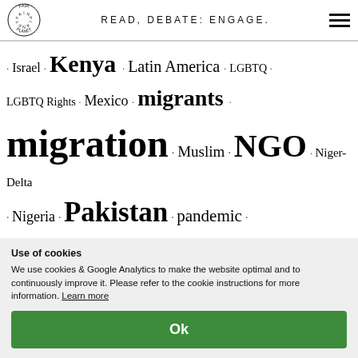READ, DEBATE: ENGAGE.
[Figure (other): Fair Planet logo — circular text reading FAIR PLANET around the edge]
· Israel · Kenya · Latin America · LGBTQ · LGBTQ Rights · Mexico · migrants · migration · Muslim · NGO · Niger-Delta · Nigeria · Pakistan · pandemic · petition · pollution · poverty · press freedom · protest · racism · recycling · refugees · renewable energy · Russia · Serbia · Shell · slavery · social media · South
Use of cookies
We use cookies & Google Analytics to make the website optimal and to continuously improve it. Please refer to the cookie instructions for more information. Learn more
Ok